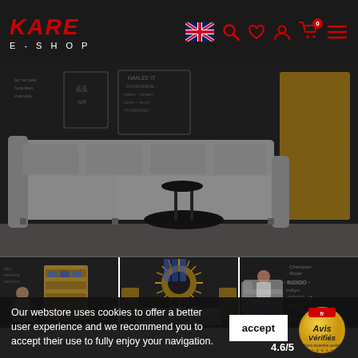KARE E-SHOP
[Figure (photo): Large main photo of a grey L-shaped modular sofa in front of a dark chalkboard wall with white handwritten text and a wooden storage cabinet on the right. A black round coffee table is in front.]
[Figure (photo): Bottom left photo: wooden shelving unit with blue and white items, a woman sitting in a folding chair, dark chalkboard wall background.]
[Figure (photo): Bottom center photo: decorative sunburst mirror on dark chalkboard wall, a light grey upholstered bench/sofa below, wooden storage elements on sides.]
[Figure (photo): Bottom right photo: woman sitting in a grey armchair, wearing denim overalls, dark chalkboard wall background with white handwritten text including INDIGO and HAN-ZEIT.]
Our webstore uses cookies to offer a better user experience and we recommend you to accept their use to fully enjoy your navigation.
accept
4.6/5